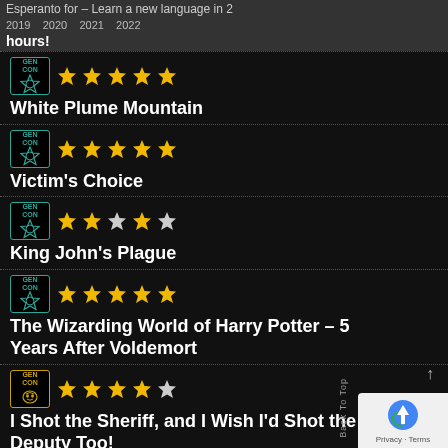Esperanto for – Learn a new language in 2 hours!
2019  2020  2021  2022
GEN CON ★★★★★ — White Plume Mountain
GEN CON ★★★★★ — Victim's Choice
GEN CON ★★☆★☆ — King John's Plague
GEN CON ★★★★★ — The Wizarding World of Harry Potter – 5 Years After Voldemort
GEN CON ★★★★☆ — I Shot the Sheriff, and I Wish I'd Shot the Deputy Too!